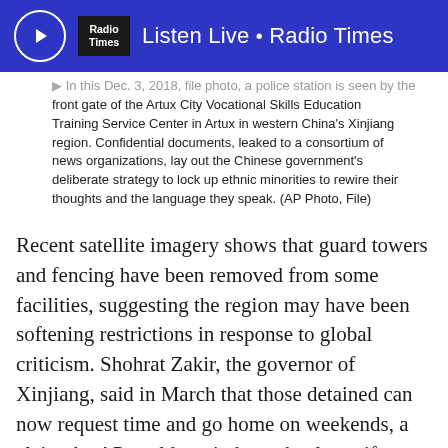Listen Live • Radio Times
In this Dec. 3, 2018, file photo, a police station is seen by the front gate of the Artux City Vocational Skills Education Training Service Center in Artux in western China's Xinjiang region. Confidential documents, leaked to a consortium of news organizations, lay out the Chinese government's deliberate strategy to lock up ethnic minorities to rewire their thoughts and the language they speak. (AP Photo, File)
Recent satellite imagery shows that guard towers and fencing have been removed from some facilities, suggesting the region may have been softening restrictions in response to global criticism. Shohrat Zakir, the governor of Xinjiang, said in March that those detained can now request time and go home on weekends, a claim the AP could not independently verify.
The first section of the text is cut off at the bottom.